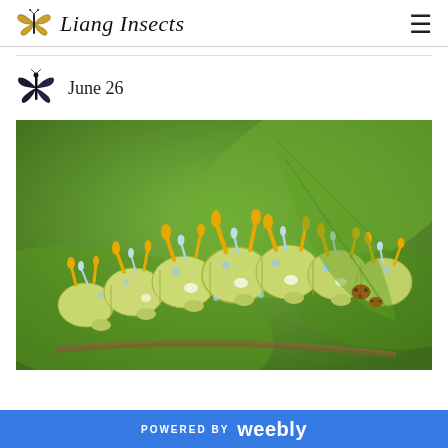Liang Insects
June 26
[Figure (photo): Close-up photograph of a large pale green caterpillar with yellow and blue spiny protuberances, crawling on a green leaf, with a small red insect visible on the right side. Background is blurred green foliage.]
POWERED BY weebly